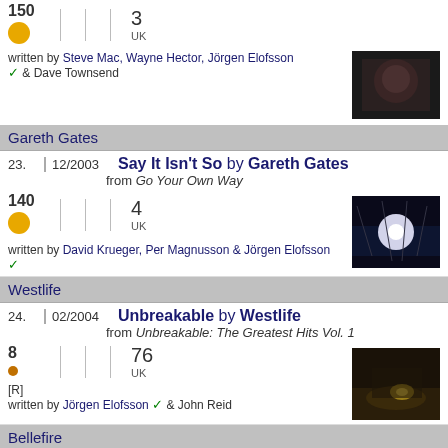150 | 3 UK — written by Steve Mac, Wayne Hector, Jörgen Elofsson & Dave Townsend
Gareth Gates
23. 12/2003 Say It Isn't So by Gareth Gates from Go Your Own Way
140 | 4 UK — written by David Krueger, Per Magnusson & Jörgen Elofsson
Westlife
24. 02/2004 Unbreakable by Westlife from Unbreakable: The Greatest Hits Vol. 1
8 | 76 UK — [R] written by Jörgen Elofsson & John Reid
Bellefire
25. 04/2004 Say Something Anyway by Bellefire